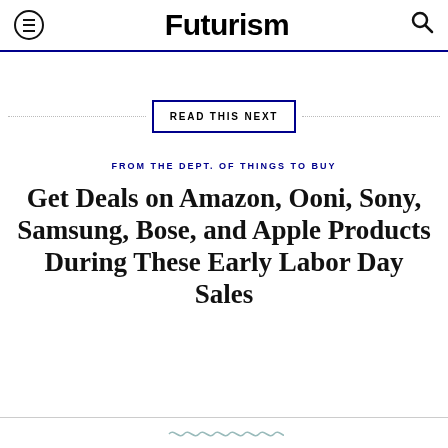Futurism
READ THIS NEXT
FROM THE DEPT. OF THINGS TO BUY
Get Deals on Amazon, Ooni, Sony, Samsung, Bose, and Apple Products During These Early Labor Day Sales